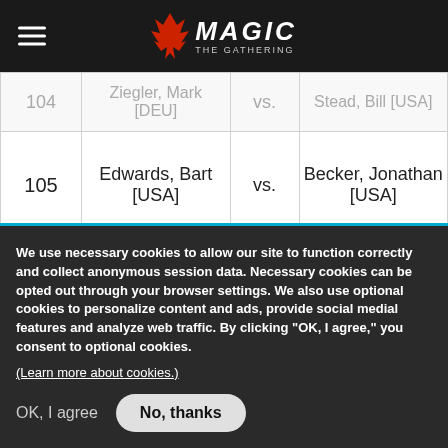Magic: The Gathering
| # | Player 1 | vs. | Player 2 |
| --- | --- | --- | --- |
| 104 | Ziegler, Mark [DEU] | vs. | Stead, Bill [USA] |
| 105 | Edwards, Bart [USA] | vs. | Becker, Jonathan [USA] |
| 106 | Matignon, Guillaume [FRA] | vs. | Österberg, Rickard [SWE] |
| 107 | Snepvangers, Abraham [NLD] | vs. | Okamoto, Jin [JPN] |
We use necessary cookies to allow our site to function correctly and collect anonymous session data. Necessary cookies can be opted out through your browser settings. We also use optional cookies to personalize content and ads, provide social medial features and analyze web traffic. By clicking “OK, I agree,” you consent to optional cookies.
(Learn more about cookies.)